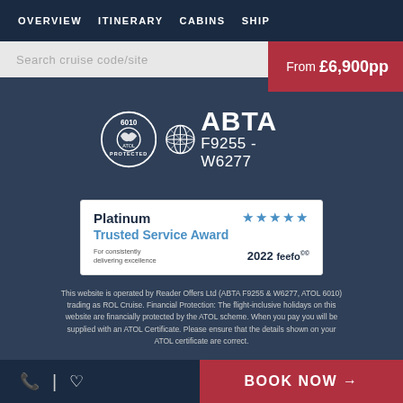OVERVIEW  ITINERARY  CABINS  SHIP
Search cruise code/site
From £6,900pp
[Figure (logo): ATOL 6010 Protected circle logo and ABTA logo with text F9255 - W6277]
[Figure (logo): Platinum Trusted Service Award 5 stars 2022 Feefo badge]
This website is operated by Reader Offers Ltd (ABTA F9255 & W6277, ATOL 6010) trading as ROL Cruise. Financial Protection: The flight-inclusive holidays on this website are financially protected by the ATOL scheme. When you pay you will be supplied with an ATOL Certificate. Please ensure that the details shown on your ATOL certificate are correct.
BOOK NOW →